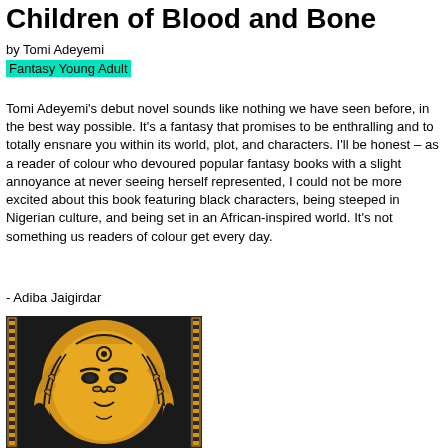Children of Blood and Bone
by Tomi Adeyemi
Fantasy Young Adult
Tomi Adeyemi's debut novel sounds like nothing we have seen before, in the best way possible. It's a fantasy that promises to be enthralling and to totally ensnare you within its world, plot, and characters. I'll be honest – as a reader of colour who devoured popular fantasy books with a slight annoyance at never seeing herself represented, I could not be more excited about this book featuring black characters, being steeped in Nigerian culture, and being set in an African-inspired world. It's not something us readers of colour get every day.
- Adiba Jaigirdar
[Figure (illustration): Book cover illustration of Children of Blood and Bone showing a golden African-styled face with braided hair on a dark background with decorative border pattern]